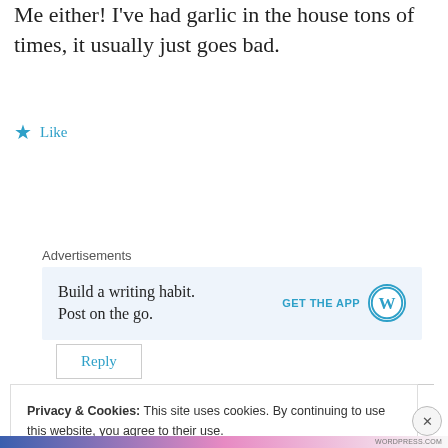Me either! I've had garlic in the house tons of times, it usually just goes bad.
Like
Reply
Advertisements
[Figure (infographic): WordPress app advertisement banner with text 'Build a writing habit. Post on the go.' and 'GET THE APP' button with WordPress logo]
Privacy & Cookies: This site uses cookies. By continuing to use this website, you agree to their use.
To find out more, including how to control cookies, see here:
Cookie Policy
Close and accept